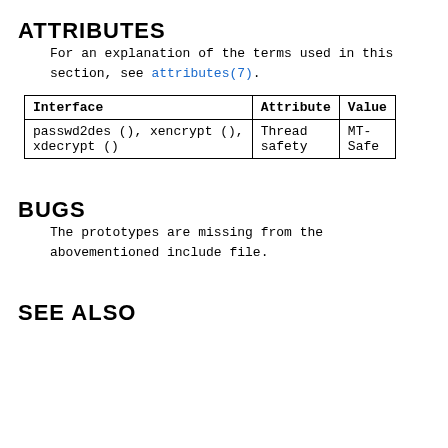ATTRIBUTES
For an explanation of the terms used in this section, see attributes(7).
| Interface | Attribute | Value |
| --- | --- | --- |
| passwd2des (), xencrypt (),
xdecrypt () | Thread
safety | MT-
Safe |
BUGS
The prototypes are missing from the abovementioned include file.
SEE ALSO